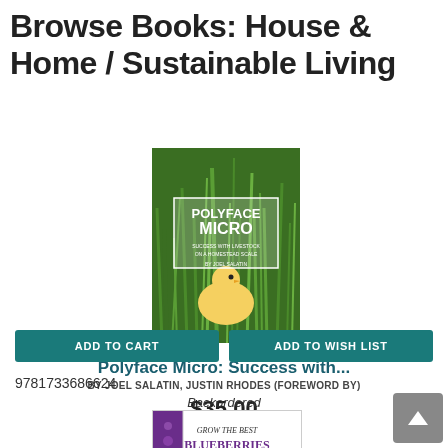Browse Books: House & Home / Sustainable Living
[Figure (photo): Book cover of Polyface Micro: Success with Livestock on a Homestead Scale by Joel Salatin, showing a chick in tall green grass with title overlay]
Polyface Micro: Success with...
BY JOEL SALATIN, JUSTIN RHODES (FOREWORD BY)
$35.00
ADD TO CART
ADD TO WISH LIST
9781733686624
Backordered
[Figure (photo): Book cover of Grow the Best Blueberries]